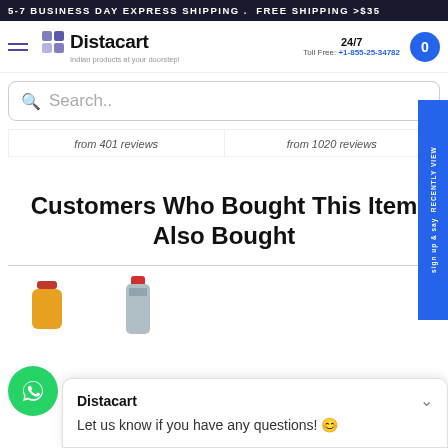5-7 BUSINESS DAY EXPRESS SHIPPING . FREE SHIPPING >$35
[Figure (logo): Distacart logo with hamburger menu, 24/7 toll free number +1-855-25-34782, and cart button]
Search..
from 401 reviews   from 1020 reviews
Customers Who Bought This Item Also Bought
[Figure (photo): Partial product images at bottom of page]
Distacart
Let us know if you have any questions! 😊